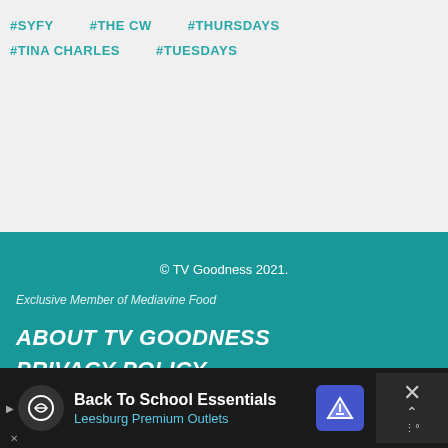#SYFY   #THE CW   #THURSDAYS
#TINA CHARLES   #TUESDAYS
© TV Goodness 2021.
Exclusive Member of Mediavine Food
ABOUT TV GOODNESS
PRIVACY POLICY
Back To School Essentials Leesburg Premium Outlets